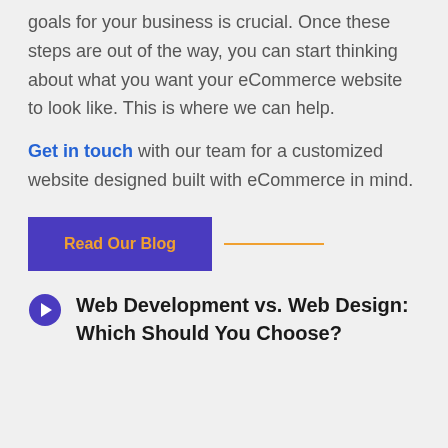goals for your business is crucial. Once these steps are out of the way, you can start thinking about what you want your eCommerce website to look like. This is where we can help.
Get in touch with our team for a customized website designed built with eCommerce in mind.
Read Our Blog
Web Development vs. Web Design: Which Should You Choose?